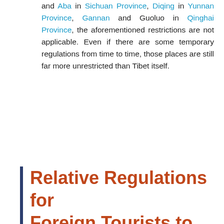and Aba in Sichuan Province, Diqing in Yunnan Province, Gannan and Guoluo in Qinghai Province, the aforementioned restrictions are not applicable. Even if there are some temporary regulations from time to time, those places are still far more unrestricted than Tibet itself.
Relative Regulations for Foreign Tourists to Tibet
1. According to national laws, in view of Tibet's special ethnic traditions, cultural relics and ecological environment protection needs, and also because of Tibet's traffic conditions, tourist service facilities and reception capacity, the government stipulates that non-Chinese citizenship holders, that is, foreign tourists, must handle the “Tibet Travel Permit” issued by the Tibet Autonomous region Tourism Bureau before entering Tibet. At the same time, it is also stipulated that foreign